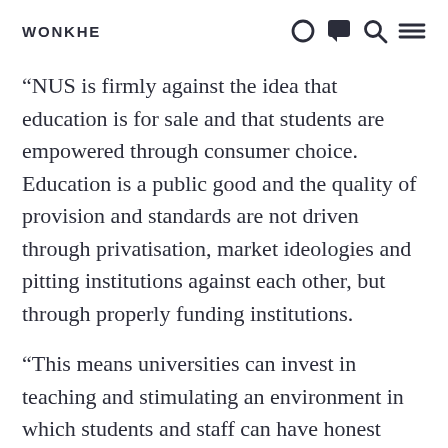WONKHE
“NUS is firmly against the idea that education is for sale and that students are empowered through consumer choice. Education is a public good and the quality of provision and standards are not driven through privatisation, market ideologies and pitting institutions against each other, but through properly funding institutions.
“This means universities can invest in teaching and stimulating an environment in which students and staff can have honest conversations about improving education and collectively building strong academic communities they are both